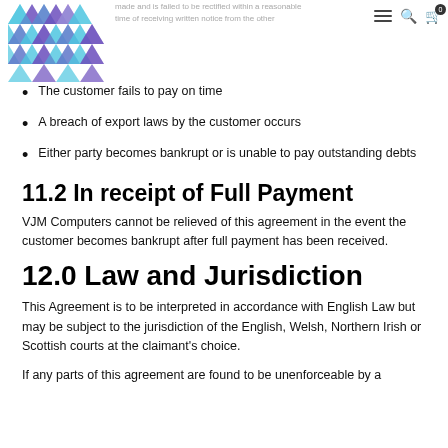made and is failed to be rectified within a reasonable time of receiving written notice from the other
The customer fails to pay on time
A breach of export laws by the customer occurs
Either party becomes bankrupt or is unable to pay outstanding debts
11.2 In receipt of Full Payment
VJM Computers cannot be relieved of this agreement in the event the customer becomes bankrupt after full payment has been received.
12.0 Law and Jurisdiction
This Agreement is to be interpreted in accordance with English Law but may be subject to the jurisdiction of the English, Welsh, Northern Irish or Scottish courts at the claimant's choice.
If any parts of this agreement are found to be unenforceable by a